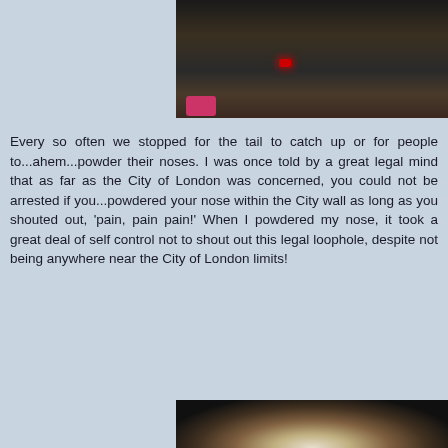[Figure (photo): Nighttime photo of cyclists stopped on a path, with a red rear light visible on one of the bikes. Several cyclists and bicycles are visible.]
Every so often we stopped for the tail to catch up or for people to...ahem...powder their noses. I was once told by a great legal mind that as far as the City of London was concerned, you could not be arrested if you...powdered your nose within the City wall as long as you shouted out, 'pain, pain pain!' When I powdered my nose, it took a great deal of self control not to shout out this legal loophole, despite not being anywhere near the City of London limits!
[Figure (photo): Nighttime photo showing a bright light source, possibly a lamp or headlight, against a dark background.]